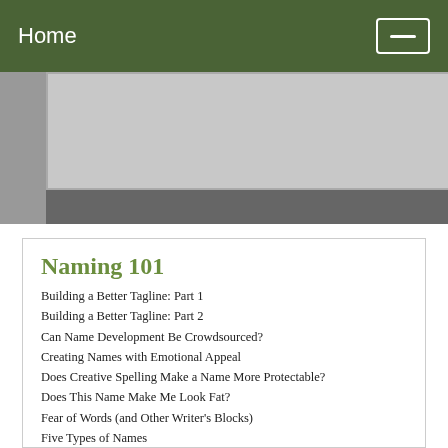Home
[Figure (screenshot): Partial screenshot of a web interface with a gray banner containing the text 'Not Using Clarity Yet?']
Naming 101
Building a Better Tagline: Part 1
Building a Better Tagline: Part 2
Can Name Development Be Crowdsourced?
Creating Names with Emotional Appeal
Does Creative Spelling Make a Name More Protectable?
Does This Name Make Me Look Fat?
Fear of Words (and Other Writer's Blocks)
Five Types of Names
Forget About Love
How Journaling Can Help You Create a Name…